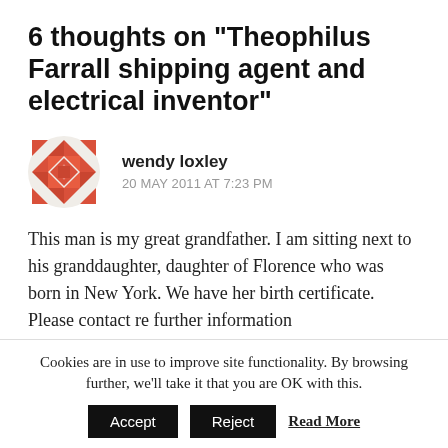6 thoughts on “Theophilus Farrall shipping agent and electrical inventor”
wendy loxley
20 MAY 2011 AT 7:23 PM
This man is my great grandfather. I am sitting next to his granddaughter, daughter of Florence who was born in New York. We have her birth certificate. Please contact re further information
Cookies are in use to improve site functionality. By browsing further, we'll take it that you are OK with this.
Accept   Reject   Read More